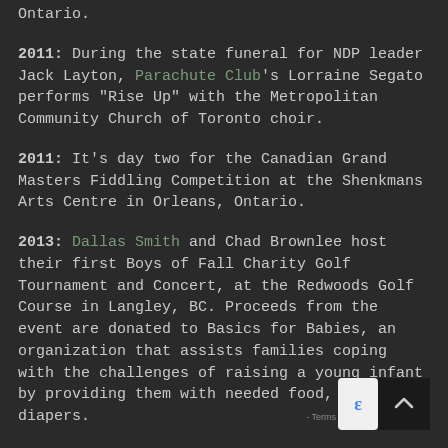Ontario.
2011: During the state funeral for NDP leader Jack Layton, Parachute Club's Lorraine Segato performs "Rise Up" with the Metropolitan Community Church of Toronto choir.
2011: It's day two for the Canadian Grand Masters Fiddling Competition at the Shenkmans Arts Centre in Orleans, Ontario.
2013: Dallas Smith and Chad Brownlee host their first Boys of Fall Charity Golf Tournament and Concert, at the Redwoods Golf Course in Langley, BC. Proceeds from the event are donated to Basics for Babies, an organization that assists families coping with the challenges of raising a young infant by providing them with needed food, formula, diapers.